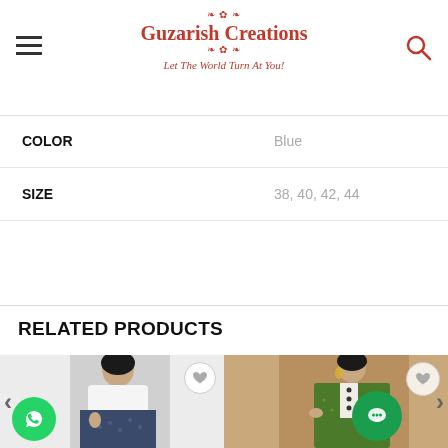Guzarish Creations — Let The World Turn At You!
| Attribute | Value |
| --- | --- |
| COLOR | Blue |
| SIZE | 38, 40, 42, 44 |
RELATED PRODUCTS
[Figure (photo): Woman wearing a dark blue printed dress with a white embroidered jacket]
[Figure (photo): Woman wearing a green printed long anarkali dress with white embroidered detail]